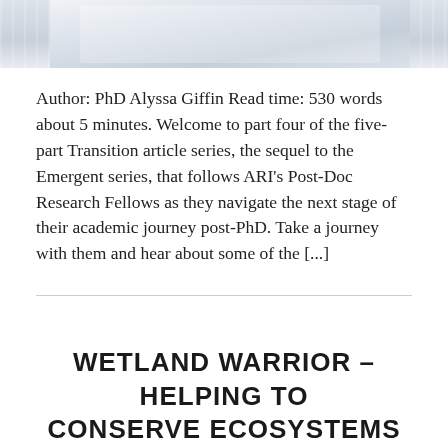[Figure (photo): Partial photo of a person in a white lab coat or similar light-colored garment, cropped at the top of the page]
Author: PhD Alyssa Giffin Read time: 530 words about 5 minutes. Welcome to part four of the five-part Transition article series, the sequel to the Emergent series, that follows ARI's Post-Doc Research Fellows as they navigate the next stage of their academic journey post-PhD. Take a journey with them and hear about some of the [...]
WETLAND WARRIOR – HELPING TO CONSERVE ECOSYSTEMS THROUGH SCIENCE AND INNOVATION